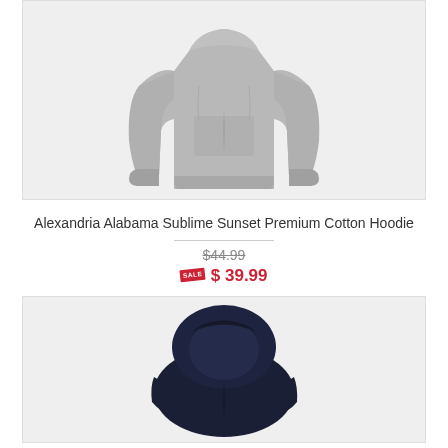[Figure (photo): Gray premium cotton hoodie sweatshirt laid flat, showing front with kangaroo pocket, long sleeves with ribbed cuffs and hem, on a light gray background]
Alexandria Alabama Sublime Sunset Premium Cotton Hoodie
$44.99 (crossed out original price)
$ 39.99 (sale price)
[Figure (photo): Navy blue hoodie shown from above/back angle with hood visible, on a light gray background]